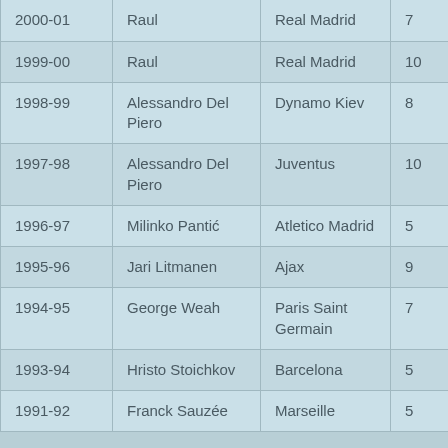| Season | Player | Club | Goals |
| --- | --- | --- | --- |
|  | Nistelrooy | United |  |
| 2000-01 | Raul | Real Madrid | 7 |
| 1999-00 | Raul | Real Madrid | 10 |
| 1998-99 | Alessandro Del Piero | Dynamo Kiev | 8 |
| 1997-98 | Alessandro Del Piero | Juventus | 10 |
| 1996-97 | Milinko Pantić | Atletico Madrid | 5 |
| 1995-96 | Jari Litmanen | Ajax | 9 |
| 1994-95 | George Weah | Paris Saint Germain | 7 |
| 1993-94 | Hristo Stoichkov | Barcelona | 5 |
| 1991-92 | Franck Sauzée | Marseille | 5 |